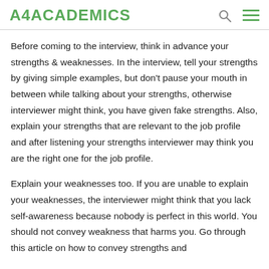A4ACADEMICS
Before coming to the interview, think in advance your strengths & weaknesses. In the interview, tell your strengths by giving simple examples, but don't pause your mouth in between while talking about your strengths, otherwise interviewer might think, you have given fake strengths. Also, explain your strengths that are relevant to the job profile and after listening your strengths interviewer may think you are the right one for the job profile.
Explain your weaknesses too. If you are unable to explain your weaknesses, the interviewer might think that you lack self-awareness because nobody is perfect in this world. You should not convey weakness that harms you. Go through this article on how to convey strengths and